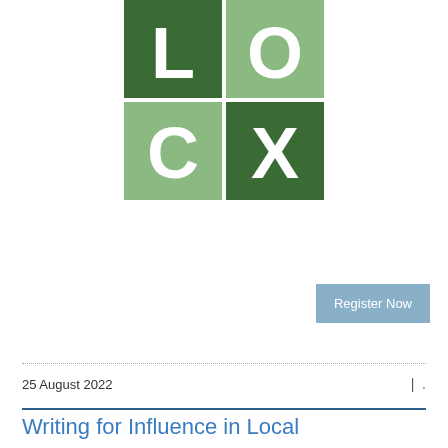[Figure (logo): LOCX logo — 2x2 grid of squares in alternating light and dark green, containing the letters L, O, C, X in white]
Register Now
25 August 2022
Writing for Influence in Local